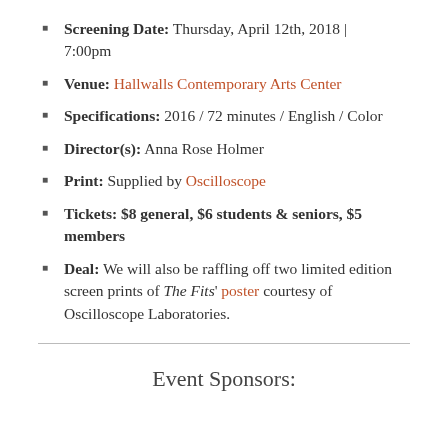Screening Date: Thursday, April 12th, 2018 | 7:00pm
Venue: Hallwalls Contemporary Arts Center
Specifications: 2016 / 72 minutes / English / Color
Director(s): Anna Rose Holmer
Print: Supplied by Oscilloscope
Tickets: $8 general, $6 students & seniors, $5 members
Deal: We will also be raffling off two limited edition screen prints of The Fits' poster courtesy of Oscilloscope Laboratories.
Event Sponsors: